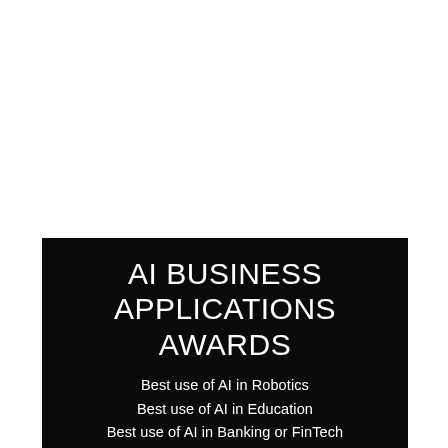AI BUSINESS APPLICATIONS AWARDS
Best use of AI in Robotics
Best use of AI in Education
Best use of AI in Banking or FinTech